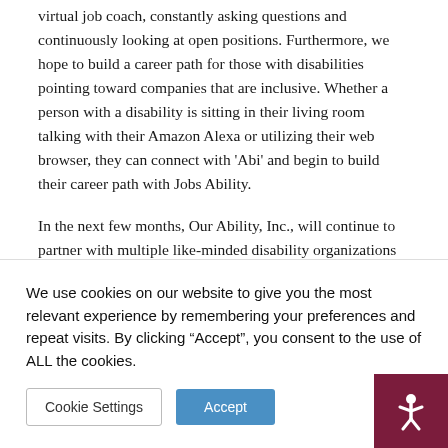virtual job coach, constantly asking questions and continuously looking at open positions. Furthermore, we hope to build a career path for those with disabilities pointing toward companies that are inclusive. Whether a person with a disability is sitting in their living room talking with their Amazon Alexa or utilizing their web browser, they can connect with 'Abi' and begin to build their career path with Jobs Ability.
In the next few months, Our Ability, Inc., will continue to partner with multiple like-minded disability organizations around the world to get our chatbot, portal and numerous employment opportunities out to as many individuals with disabilities as possible.
We use cookies on our website to give you the most relevant experience by remembering your preferences and repeat visits. By clicking “Accept”, you consent to the use of ALL the cookies.